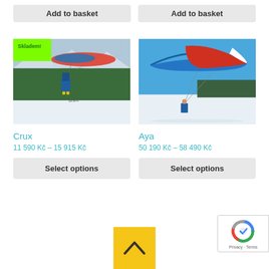Add to basket (left)
Add to basket (right)
[Figure (photo): Paraglider with Skladem! badge, person flying with paraglider in snowy mountain landscape, Ozone brand]
[Figure (photo): Blue and red paraglider canopy in blue sky over snowy field, person on ground]
Crux
11 590 Kč – 15 915 Kč
Aya
50 190 Kč – 58 490 Kč
Select options
Select options
[Figure (other): Yellow scroll-to-top button with upward chevron arrow]
[Figure (other): Google reCAPTCHA badge with logo and Privacy - Terms text]